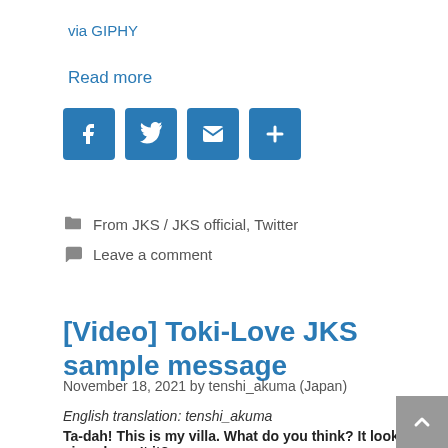via GIPHY
Read more
[Figure (other): Social share buttons: Facebook, Twitter, Email, More (plus icon)]
From JKS / JKS official, Twitter
Leave a comment
[Video] Toki-Love JKS sample message
November 18, 2021 by tenshi_akuma (Japan)
English translation: tenshi_akuma
Ta-dah! This is my villa. What do you think? It looks nice, doesn't it?